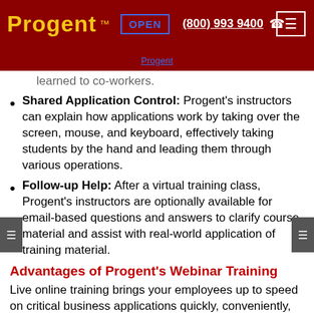Progent™  OPEN  (800) 993 9400  ☎
learned to co-workers.
Shared Application Control: Progent's instructors can explain how applications work by taking over the screen, mouse, and keyboard, effectively taking students by the hand and leading them through various operations.
Follow-up Help: After a virtual training class, Progent's instructors are optionally available for email-based questions and answers to clarify course material and assist with real-world application of training material.
Advantages of Progent's Webinar Training
Live online training brings your employees up to speed on critical business applications quickly, conveniently, and affordably. Major advantages of